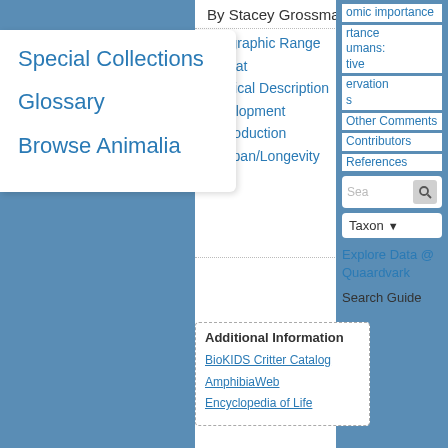By Stacey Grossman
Geographic Range
Habitat
Physical Description
Development
Reproduction
Lifespan/Longevity
Behavior
Communication and Perception
Food Habits
Predation
Ecosystem Roles
Economic Importance for Humans: Positive
Special Collections
Glossary
Browse Animalia
Additional Information
BioKIDS Critter Catalog
AmphibiaWeb
Encyclopedia of Life
Geographic Range
American toads, Anaxyrus americanus, are only native to the Nearctic region. They are found throughout large portions of North America, from
team is excited to announce ADW Pocket Guides! Read more…
Economic Importance for Humans: Positive
Other Comments
Contributors
References
Explore Data @ Quaardvark
Search Guide